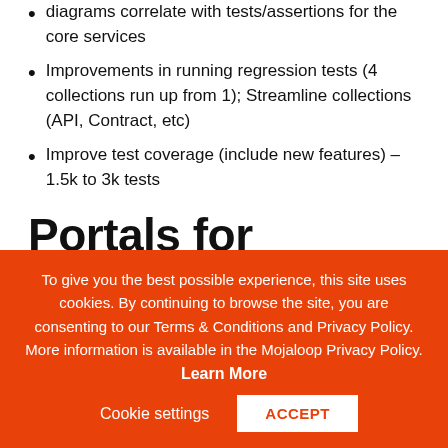diagrams correlate with tests/assertions for the core services
Improvements in running regression tests (4 collections run up from 1); Streamline collections (API, Contract, etc)
Improve test coverage (include new features) – 1.5k to 3k tests
Portals for Onboarding
Functional PoC to demo Technology
To give you the best possible experience, this site uses cookies. By continuing to browse the site, you are consenting to our Terms & Conditions and Privacy Policy. More information is available in the Mojaloop Privacy Policy. Learn More
Cookie settings
ACCEPT